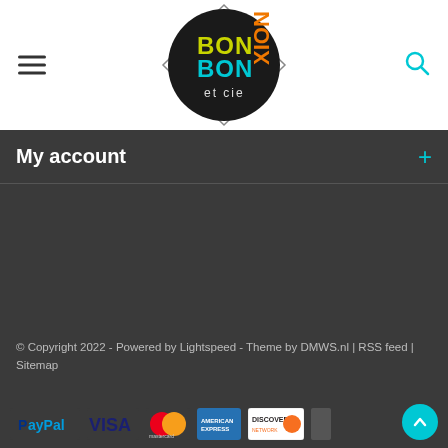[Figure (logo): BonBonXion et cie logo: dark circular logo with diamond outline, text BON in yellow-green, BON in cyan, XION in orange, et cie in white]
My account
© Copyright 2022 - Powered by Lightspeed - Theme by DMWS.nl | RSS feed | Sitemap
[Figure (infographic): Payment method icons: PayPal, VISA, Mastercard, American Express, Discover, and a partially visible icon]